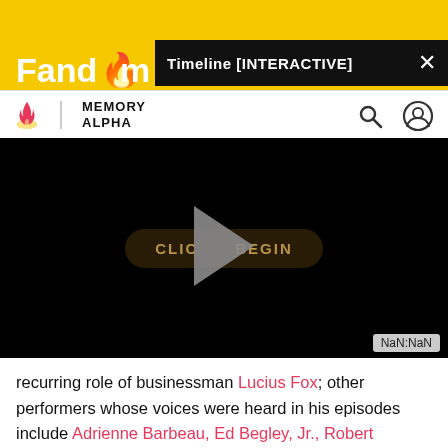[Figure (screenshot): Fandom website header with yellow background showing Fandom logo and Memory Alpha branding]
[Figure (screenshot): Black video player area with 'CLICK TO BEGIN' button and large play triangle, showing NaN:NaN timestamp]
recurring role of businessman Lucius Fox; other performers whose voices were heard in his episodes include Adrienne Barbeau, Ed Begley, Jr., Robert Costanzo, Gary Frank, John Glover, Loren Lester, Ron Perlman, David Warner, and aforementioned TOS regular